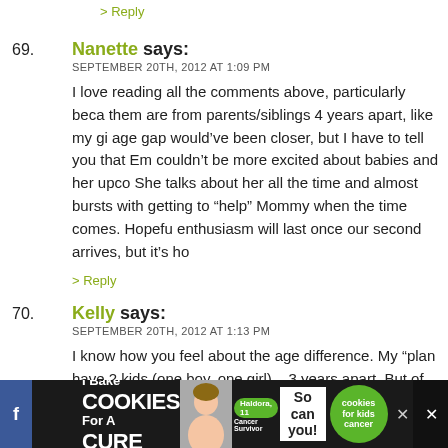> Reply
69. Nanette says: SEPTEMBER 20TH, 2012 AT 1:09 PM
I love reading all the comments above, particularly beca them are from parents/siblings 4 years apart, like my gi age gap would've been closer, but I have to tell you that Em couldn't be more excited about babies and her upco She talks about her all the time and almost bursts with getting to “help” Mommy when the time comes. Hopefu enthusiasm will last once our second arrives, but it’s ho
> Reply
70. Kelly says: SEPTEMBER 20TH, 2012 AT 1:13 PM
I know how you feel about the age difference. My “plan have 2 kids (one boy, one girl) – 3 years apart. But of co always work out the way we “plan”. I ended up with 2 b and couldn’t be happier about it. No, they’ll never atte
[Figure (other): Advertisement banner: I Bake COOKIES For A CURE with a girl and cookies for kids cancer branding]